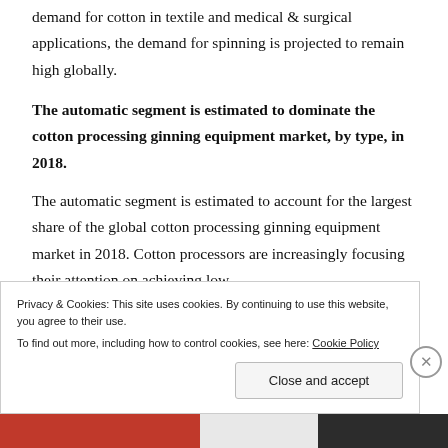demand for cotton in textile and medical & surgical applications, the demand for spinning is projected to remain high globally.
The automatic segment is estimated to dominate the cotton processing ginning equipment market, by type, in 2018.
The automatic segment is estimated to account for the largest share of the global cotton processing ginning equipment market in 2018. Cotton processors are increasingly focusing their attention on achieving low
Privacy & Cookies: This site uses cookies. By continuing to use this website, you agree to their use.
To find out more, including how to control cookies, see here: Cookie Policy
Close and accept